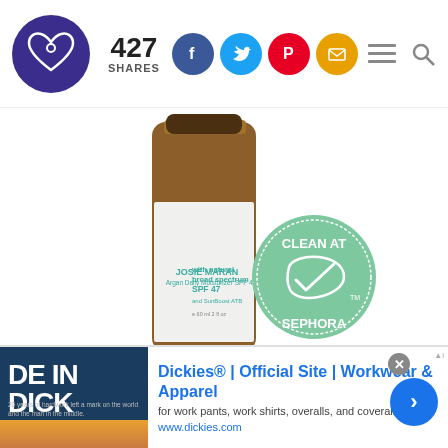427 SHARES
[Figure (photo): Josie Maran Argan Daily Moisturizer SPF 47 with natural broad spectrum SPF 47 and SunBoost ATB product bottle in amber glass, with Clean at Sephora green badge]
[Figure (infographic): Advertisement: Dickies® | Official Site | Workwear & Apparel - for work pants, work shirts, overalls, and coveralls. www.dickies.com]